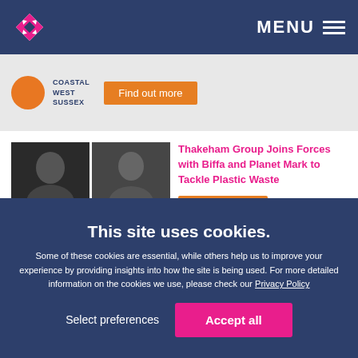MENU
[Figure (logo): Coastal West Sussex logo with orange circle and text, Find out more orange button]
Thakeham Group Joins Forces with Biffa and Planet Mark to Tackle Plastic Waste
Find out more
Rupert Moyle from Kreston Reeves appointed Chair of the Kreston Global's Indirect Tax Group
This site uses cookies.
Some of these cookies are essential, while others help us to improve your experience by providing insights into how the site is being used. For more detailed information on the cookies we use, please check our Privacy Policy
Select preferences
Accept all